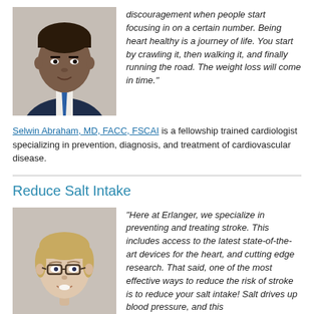[Figure (photo): Professional headshot of a male cardiologist in a dark suit with blue tie]
discouragement when people start focusing in on a certain number. Being heart healthy is a journey of life. You start by crawling it, then walking it, and finally running the road. The weight loss will come in time."
Selwin Abraham, MD, FACC, FSCAI is a fellowship trained cardiologist specializing in prevention, diagnosis, and treatment of cardiovascular disease.
Reduce Salt Intake
[Figure (photo): Professional headshot of a female doctor with short blonde hair and glasses, wearing a white coat]
"Here at Erlanger, we specialize in preventing and treating stroke. This includes access to the latest state-of-the-art devices for the heart, and cutting edge research. That said, one of the most effective ways to reduce the risk of stroke is to reduce your salt intake! Salt drives up blood pressure, and this